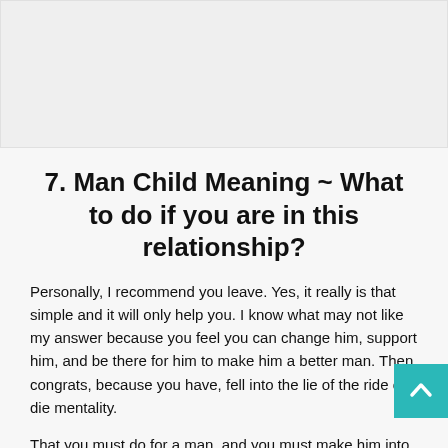[Figure (other): Blank/placeholder image area at top of page]
7. Man Child Meaning ~ What to do if you are in this relationship?
Personally, I recommend you leave. Yes, it really is that simple and it will only help you. I know what may not like my answer because you feel you can change him, support him, and be there for him to make him a better man. Then congrats, because you have, fell into the lie of the ride or die mentality.
That you must do for a man, and you must make him into a man. Which is not your place or your job. You cannot make a man a man. That is the point of being a man he should be able to do that on his own. Remember that story about my ex, I would like